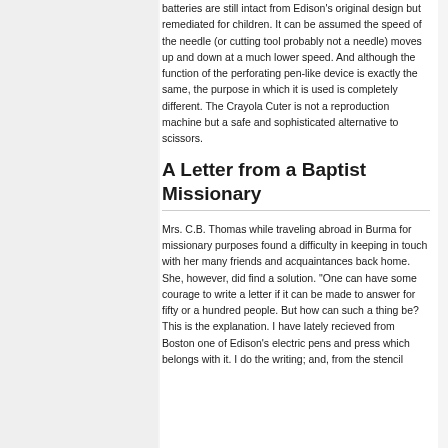batteries are still intact from Edison's original design but remediated for children. It can be assumed the speed of the needle (or cutting tool probably not a needle) moves up and down at a much lower speed. And although the function of the perforating pen-like device is exactly the same, the purpose in which it is used is completely different. The Crayola Cuter is not a reproduction machine but a safe and sophisticated alternative to scissors.
A Letter from a Baptist Missionary
Mrs. C.B. Thomas while traveling abroad in Burma for missionary purposes found a difficulty in keeping in touch with her many friends and acquaintances back home. She, however, did find a solution. "One can have some courage to write a letter if it can be made to answer for fifty or a hundred people. But how can such a thing be? This is the explanation. I have lately recieved from Boston one of Edison's electric pens and press which belongs with it. I do the writing; and, from the stencil